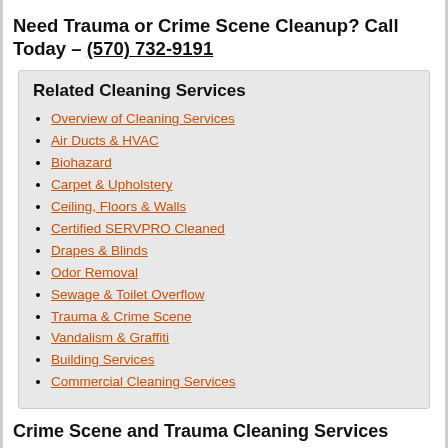Need Trauma or Crime Scene Cleanup? Call Today – (570) 732-9191
Related Cleaning Services
Overview of Cleaning Services
Air Ducts & HVAC
Biohazard
Carpet & Upholstery
Ceiling, Floors & Walls
Certified SERVPRO Cleaned
Drapes & Blinds
Odor Removal
Sewage & Toilet Overflow
Trauma & Crime Scene
Vandalism & Graffiti
Building Services
Commercial Cleaning Services
Crime Scene and Trauma Cleaning Services